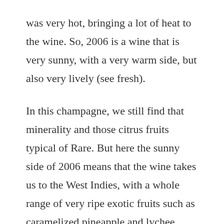was very hot, bringing a lot of heat to the wine. So, 2006 is a wine that is very sunny, with a very warm side, but also very lively (see fresh).
In this champagne, we still find that minerality and those citrus fruits typical of Rare. But here the sunny side of 2006 means that the wine takes us to the West Indies, with a whole range of very ripe exotic fruits such as caramelized pineapple and lychee. And on the palate, the wine is